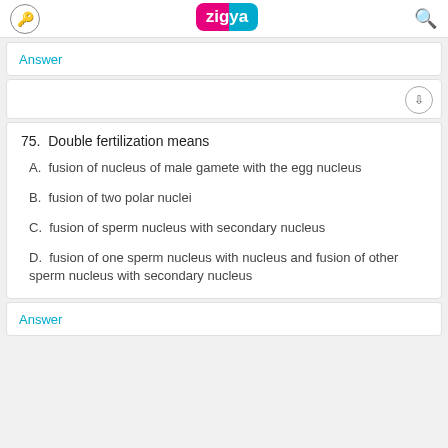zigya
Answer
75. Double fertilization means
A. fusion of nucleus of male gamete with the egg nucleus
B. fusion of two polar nuclei
C. fusion of sperm nucleus with secondary nucleus
D. fusion of one sperm nucleus with nucleus and fusion of other sperm nucleus with secondary nucleus
Answer